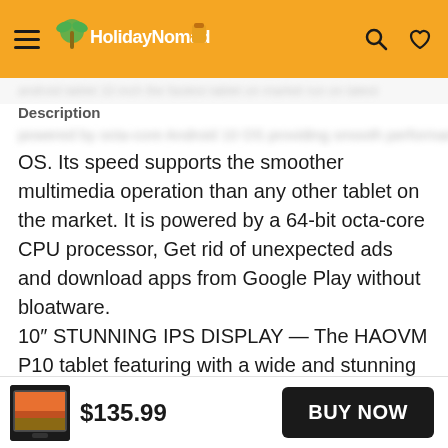HolidayNomad [logo with hamburger menu, search, and heart icons]
Description
OS. Its speed supports the smoother multimedia operation than any other tablet on the market. It is powered by a 64-bit octa-core CPU processor, Get rid of unexpected ads and download apps from Google Play without bloatware.
10″ STUNNING IPS DISPLAY — The HAOVM P10 tablet featuring with a wide and stunning 800*1280 IPS display, which presents a bright display with more abundant colors and more delicate picture quality from all angles. so you can watch your favorite
[Figure (photo): Small thumbnail of a tablet showing landscape screen]
$135.99
BUY NOW